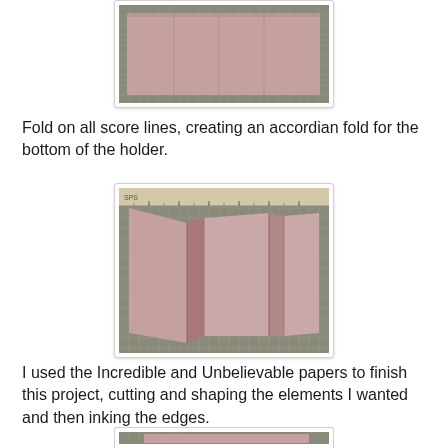[Figure (photo): A flat piece of rosy-brown cardstock/paper viewed from above on a gridded cutting mat, before scoring or folding.]
Fold on all score lines, creating an accordian fold for the bottom of the holder.
[Figure (photo): The same rosy-brown cardstock now folded into an accordion (concertina) fold, sitting on a cutting mat with a ruler visible at the top.]
I used the Incredible and Unbelievable papers to finish this project, cutting and shaping the elements I wanted and then inking the edges.
[Figure (photo): Partial view of the finished decorated holder, cropped at the bottom of the page.]